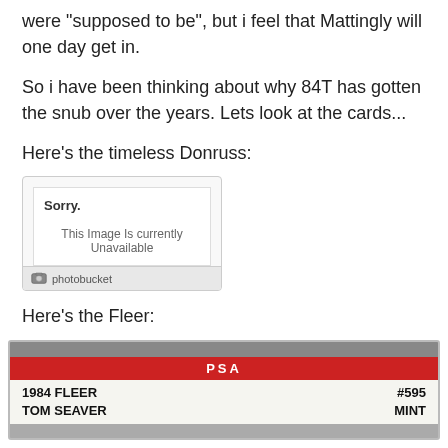were "supposed to be", but i feel that Mattingly will one day get in.
So i have been thinking about why 84T has gotten the snub over the years. Lets look at the cards...
Here's the timeless Donruss:
[Figure (photo): Photobucket placeholder image showing 'Sorry. This Image Is Currently Unavailable' with photobucket logo at bottom]
Here's the Fleer:
[Figure (photo): PSA graded card showing 1984 FLEER TOM SEAVER #595 MINT]